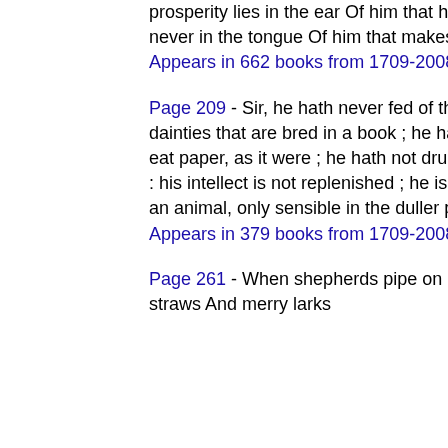prosperity lies in the ear Of him that hears it, never in the tongue Of him that makes it...
Appears in 662 books from 1709-2008
Page 209 - Sir, he hath never fed of the dainties that are bred in a book ; he hath not eat paper, as it were ; he hath not drunk ink : his intellect is not replenished ; he is only an animal, only sensible in the duller parts...
Appears in 379 books from 1709-2008
Page 261 - When shepherds pipe on oaten straws And merry larks